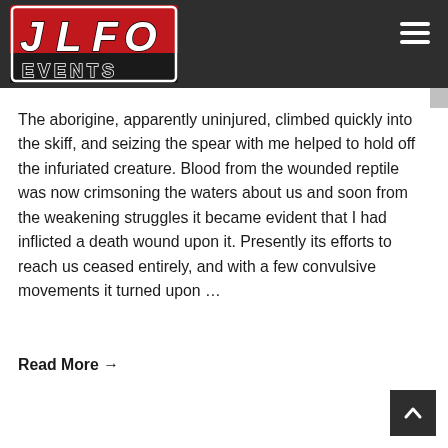[Figure (logo): JLFO Events logo — red and black rectangular logo with JLFO in bold white italic letters on red background and EVENTS in outlined block letters on black background]
The aborigine, apparently uninjured, climbed quickly into the skiff, and seizing the spear with me helped to hold off the infuriated creature. Blood from the wounded reptile was now crimsoning the waters about us and soon from the weakening struggles it became evident that I had inflicted a death wound upon it. Presently its efforts to reach us ceased entirely, and with a few convulsive movements it turned upon ...
Read More →